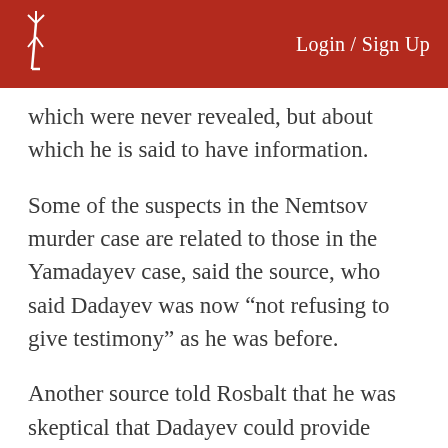Login / Sign Up
which were never revealed, but about which he is said to have information.
Some of the suspects in the Nemtsov murder case are related to those in the Yamadayev case, said the source, who said Dadayev was now “not refusing to give testimony” as he was before.
Another source told Rosbalt that he was skeptical that Dadayev could provide